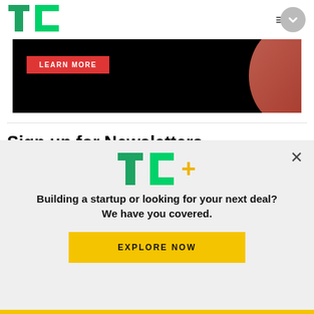TechCrunch
[Figure (screenshot): Dark advertisement banner with LEARN MORE red button and orange/red decorative diagonal stripe on the right]
Sign up for Newsletters
See all newsletters
Daily
[Figure (screenshot): TC+ promotional overlay popup with TC+ logo, tagline 'Building a startup or looking for your next deal? We have you covered.' and a yellow EXPLORE NOW button]